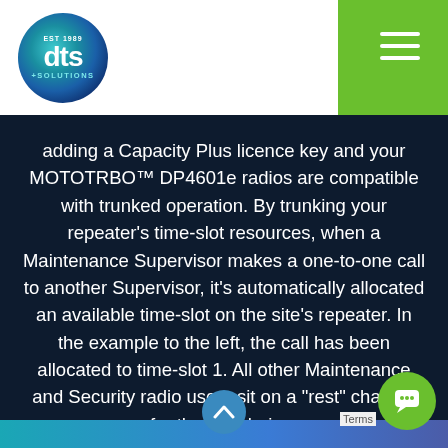[Figure (logo): DTS Solutions circular logo with blue/teal gradient background and white text]
adding a Capacity Plus licence key and your MOTOTRBO™ DP4601e radios are compatible with trunked operation. By trunking your repeater's time-slot resources, when a Maintenance Supervisor makes a one-to-one call to another Supervisor, it's automatically allocated an available time-slot on the site's repeater. In the example to the left, the call has been allocated to time-slot 1. All other Maintenance and Security radio users sit on a "rest" channel for the time being.